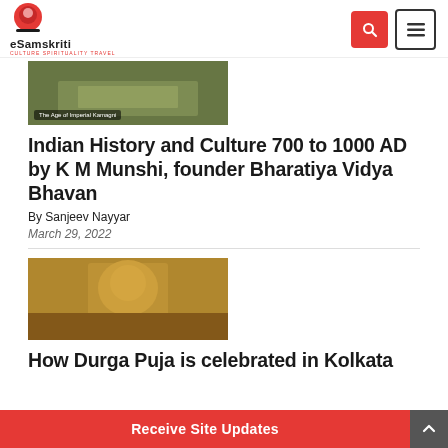eSamskriti — CULTURE SPIRITUALITY TRAVEL
[Figure (photo): Aerial view of a historical building with caption 'The Age of Imperial Kamagni']
Indian History and Culture 700 to 1000 AD by K M Munshi, founder Bharatiya Vidya Bhavan
By Sanjeev Nayyar
March 29, 2022
[Figure (photo): Durga Puja idol — goddess Durga with multiple arms surrounded by other deities, worshippers in foreground]
How Durga Puja is celebrated in Kolkata